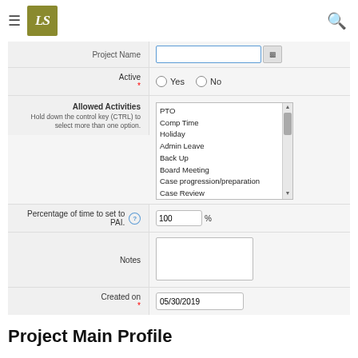[Figure (screenshot): Application header bar with hamburger menu icon, LS logo in olive/gold square, and search icon]
| Project Name | (text input with button) |
| Active* | Yes / No radio buttons |
| Allowed Activities (Hold down the control key (CTRL) to select more than one option.) | PTO, Comp Time, Holiday, Admin Leave, Back Up, Board Meeting, Case progression/preparation, Case Review, CLE, Community Education |
| Percentage of time to set to PAI. | 100 % |
| Notes | (textarea) |
| Created on* | 05/30/2019 |
Project Main Profile